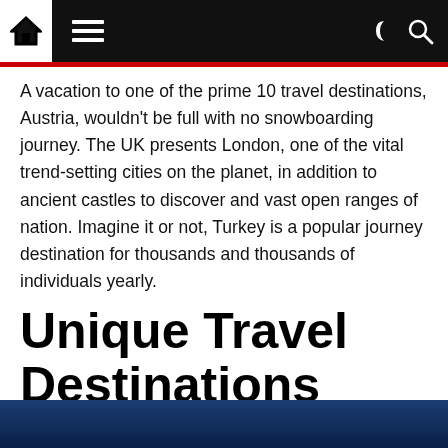Navigation bar with home, menu, dark mode, and search icons
A vacation to one of the prime 10 travel destinations, Austria, wouldn't be full with no snowboarding journey. The UK presents London, one of the vital trend-setting cities on the planet, in addition to ancient castles to discover and vast open ranges of nation. Imagine it or not, Turkey is a popular journey destination for thousands and thousands of individuals yearly.
Unique Travel Destinations
anonymous,uncategorized,misc,general,other
[Figure (photo): Blue gradient photo strip at the bottom of the page]